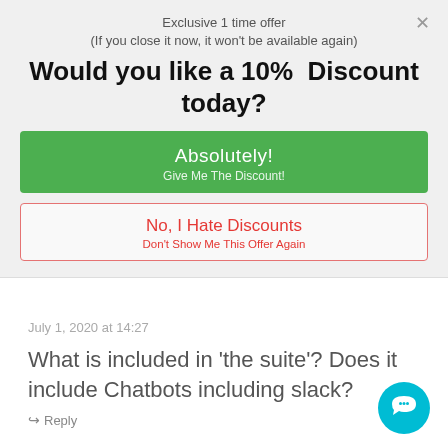Exclusive 1 time offer
(If you close it now, it won't be available again)
Would you like a 10%  Discount today?
Absolutely!
Give Me The Discount!
No, I Hate Discounts
Don't Show Me This Offer Again
July 1, 2020 at 14:27
What is included in 'the suite'? Does it include Chatbots including slack?
Reply
[Figure (illustration): Cyan circular chat bubble icon with a white chat lines symbol inside]